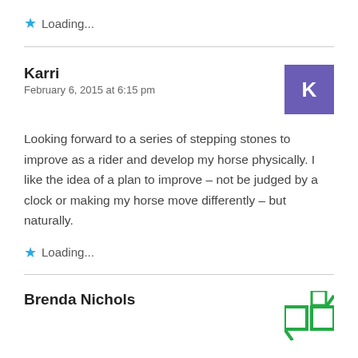★ Loading...
Karri
February 6, 2015 at 6:15 pm
Looking forward to a series of stepping stones to improve as a rider and develop my horse physically. I like the idea of a plan to improve – not be judged by a clock or making my horse move differently – but naturally.
★ Loading...
Brenda Nichols